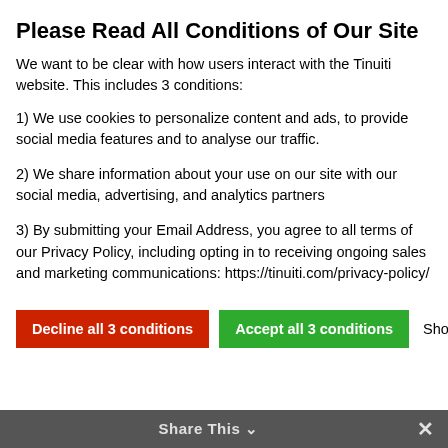Please Read All Conditions of Our Site
We want to be clear with how users interact with the Tinuiti website. This includes 3 conditions:
1) We use cookies to personalize content and ads, to provide social media features and to analyse our traffic.
2) We share information about your use on our site with our social media, advertising, and analytics partners
3) By submitting your Email Address, you agree to all terms of our Privacy Policy, including opting in to receiving ongoing sales and marketing communications: https://tinuiti.com/privacy-policy/
Decline all 3 conditions | Accept all 3 conditions | Show details
[Figure (screenshot): Partial view of webpage below cookie consent modal showing truncated text 'oogle's an no un' on left and a video thumbnail of a person presenting at an event on the right.]
Share This ∨  ×